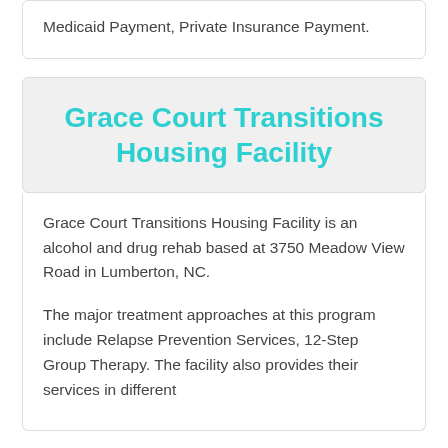Medicaid Payment, Private Insurance Payment.
Grace Court Transitions Housing Facility
Grace Court Transitions Housing Facility is an alcohol and drug rehab based at 3750 Meadow View Road in Lumberton, NC.
The major treatment approaches at this program include Relapse Prevention Services, 12-Step Group Therapy. The facility also provides their services in different